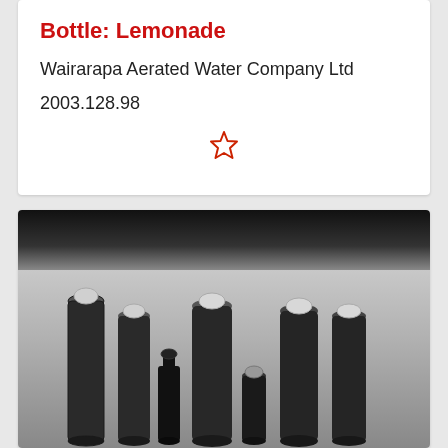Bottle: Lemonade
Wairarapa Aerated Water Company Ltd
2003.128.98
[Figure (photo): Black and white photograph of multiple glass lemonade bottles of varying sizes arranged in a row against a light background with a dark top strip. The bottles have rounded caps and tapered shapes.]